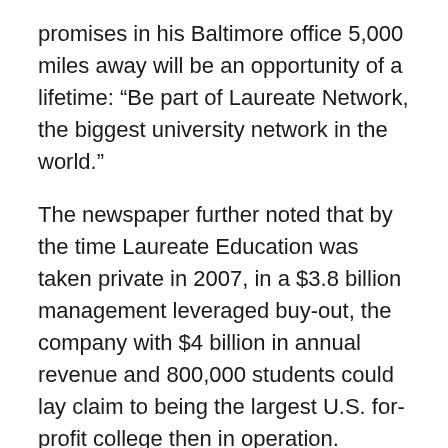promises in his Baltimore office 5,000 miles away will be an opportunity of a lifetime: “Be part of Laureate Network, the biggest university network in the world.”
The newspaper further noted that by the time Laureate Education was taken private in 2007, in a $3.8 billion management leveraged buy-out, the company with $4 billion in annual revenue and 800,000 students could lay claim to being the largest U.S. for-profit college then in operation.
But, as Forbes pointed out in its July 12, 2015, story, Laureate Education’s Walden University was built by inducing prospective students to incur massive tuition debt to attend a school with no academic reputation and virtually no standards for admission other than ability to pay.